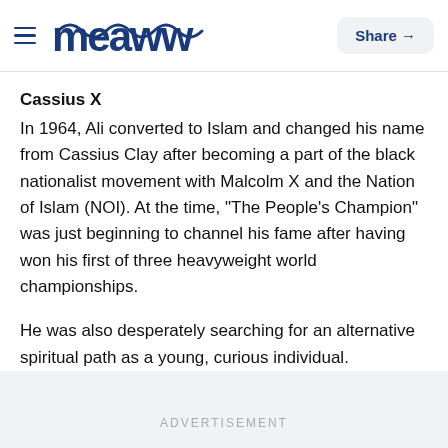meaww — Share
Cassius X
In 1964, Ali converted to Islam and changed his name from Cassius Clay after becoming a part of the black nationalist movement with Malcolm X and the Nation of Islam (NOI). At the time, "The People's Champion" was just beginning to channel his fame after having won his first of three heavyweight world championships.
He was also desperately searching for an alternative spiritual path as a young, curious individual.
ADVERTISEMENT